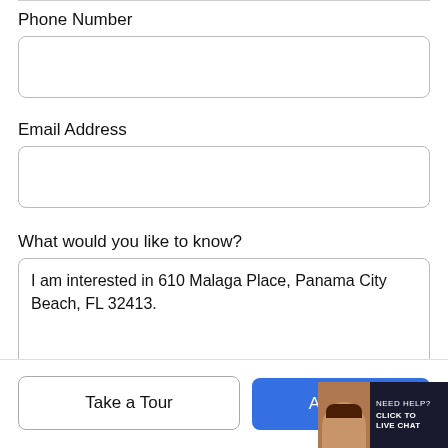Phone Number
[Figure (other): Empty phone number input field with rounded border]
Email Address
[Figure (other): Empty email address input field with rounded border]
What would you like to know?
[Figure (other): Textarea input containing text: I am interested in 610 Malaga Place, Panama City Beach, FL 32413.]
[Figure (other): Take a Tour button (outlined) and Ask A Question button (blue), with live chat widget overlay in bottom right corner]